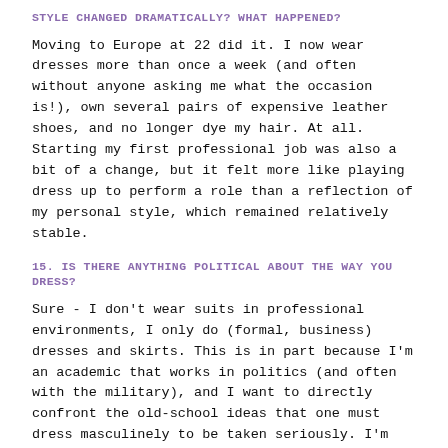STYLE CHANGED DRAMATICALLY? WHAT HAPPENED?
Moving to Europe at 22 did it. I now wear dresses more than once a week (and often without anyone asking me what the occasion is!), own several pairs of expensive leather shoes, and no longer dye my hair. At all. Starting my first professional job was also a bit of a change, but it felt more like playing dress up to perform a role than a reflection of my personal style, which remained relatively stable.
15. IS THERE ANYTHING POLITICAL ABOUT THE WAY YOU DRESS?
Sure - I don't wear suits in professional environments, I only do (formal, business) dresses and skirts. This is in part because I'm an academic that works in politics (and often with the military), and I want to directly confront the old-school ideas that one must dress masculinely to be taken seriously. I'm also highly opposed to the use of military camouflage used in